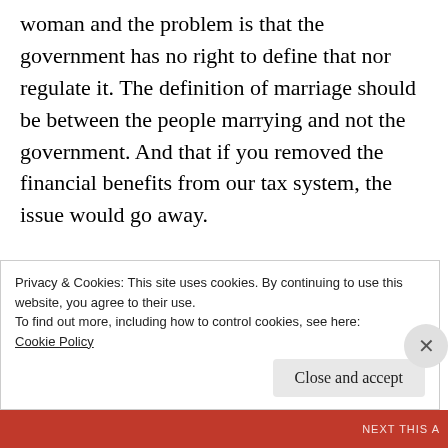woman and the problem is that the government has no right to define that nor regulate it. The definition of marriage should be between the people marrying and not the government. And that if you removed the financial benefits from our tax system, the issue would go away.

After reading his book their is no way you can ever accuse him of being racist, unfair or unjust
Privacy & Cookies: This site uses cookies. By continuing to use this website, you agree to their use.
To find out more, including how to control cookies, see here: Cookie Policy
Close and accept